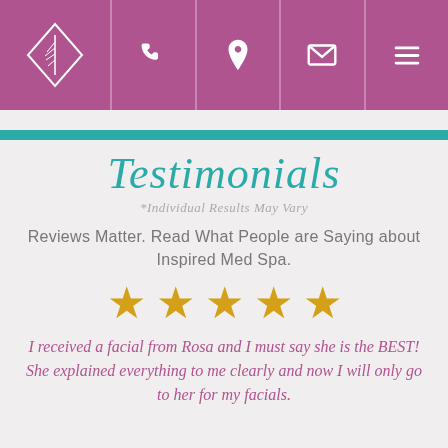Inspired Med Spa navigation header with logo, phone, location, email, and menu icons
Testimonials
*Individual Results May Vary
Reviews Matter. Read What People are Saying about Inspired Med Spa.
[Figure (other): Five gold stars rating]
I received a facial from Rosa and I must say she is the BEST! She explained everything to me clearly and now I will only go to her for my facials.